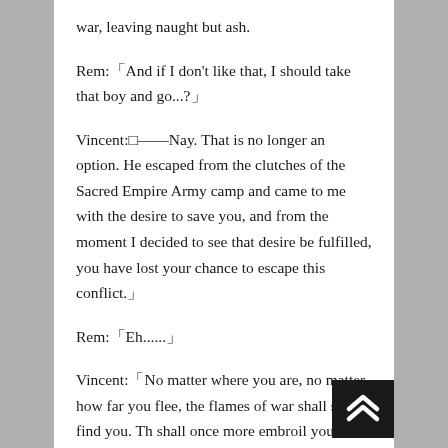war, leaving naught but ash.
Rem:「And if I don't like that, I should take that boy and go...?」
Vincent:□——Nay. That is no longer an option. He escaped from the clutches of the Sacred Empire Army camp and came to me with the desire to save you, and from the moment I decided to see that desire be fulfilled, you have lost your chance to escape this conflict.」
Rem:「Eh......」
Vincent:「No matter where you are, no matter how far you flee, the flames of war shall surely find you. Th shall once more embroil you, engulf you. Your desire